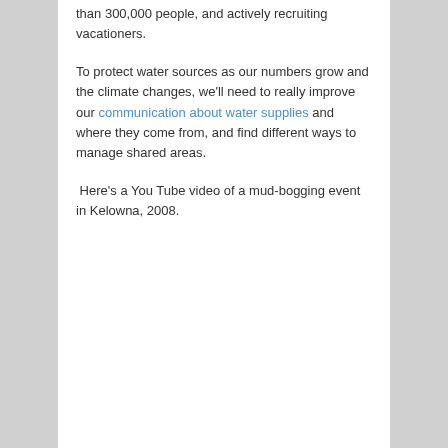than 300,000 people, and actively recruiting vacationers.
To protect water sources as our numbers grow and the climate changes, we'll need to really improve our communication about water supplies and where they come from, and find different ways to manage shared areas.
Here's a You Tube video of a mud-bogging event in Kelowna, 2008.